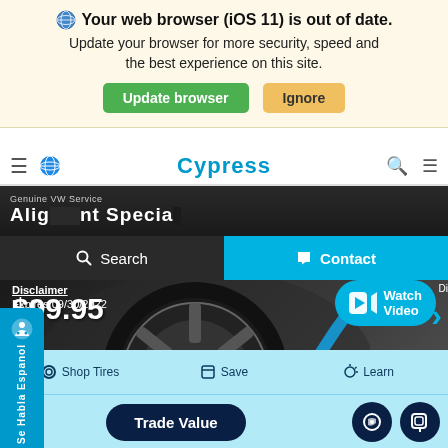Your web browser (iOS 11) is out of date. Update your browser for more security, speed and the best experience on this site.
Update browser | Ignore
Cypress
Genuine VW Service - Alignment Special
Search  Contact
$99.95
Disclaimer
Expires 09/30/2022
Watch Video
Shop Tires  Save  Learn
Trade Value
Se Habla Espanol